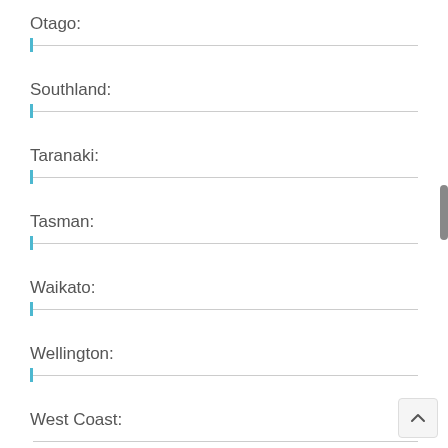Otago:
Southland:
Taranaki:
Tasman:
Waikato:
Wellington:
West Coast: